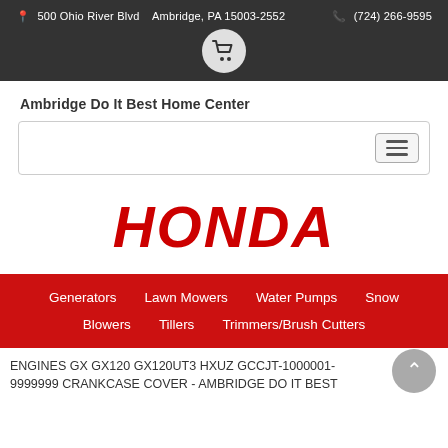📍 500 Ohio River Blvd   Ambridge, PA 15003-2552      📞 (724) 266-9595
Ambridge Do It Best Home Center
[Figure (logo): HONDA logo in red bold italic text]
Generators   Lawn Mowers   Water Pumps   Snow Blowers   Tillers   Trimmers/Brush Cutters
ENGINES GX GX120 GX120UT3 HXUZ GCCJT-1000001-9999999 CRANKCASE COVER - AMBRIDGE DO IT BEST